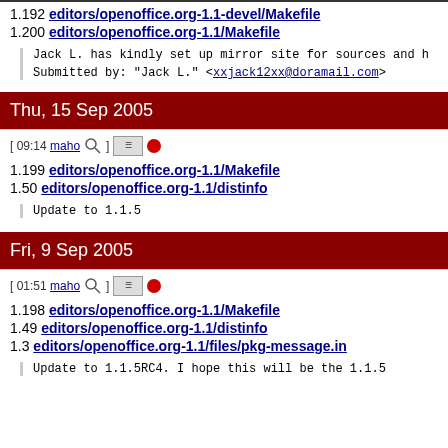1.192 editors/openoffice.org-1.1-devel/Makefile
1.200 editors/openoffice.org-1.1/Makefile
Jack L. has kindly set up mirror site for sources and h
Submitted by: "Jack L." <xxjack12xx@doramail.com>
Thu, 15 Sep 2005
[ 09:14 maho ] [icons]
1.199 editors/openoffice.org-1.1/Makefile
1.50 editors/openoffice.org-1.1/distinfo
Update to 1.1.5
Fri, 9 Sep 2005
[ 01:51 maho ] [icons]
1.198 editors/openoffice.org-1.1/Makefile
1.49 editors/openoffice.org-1.1/distinfo
1.3 editors/openoffice.org-1.1/files/pkg-message.in
Update to 1.1.5RC4. I hope this will be the 1.1.5